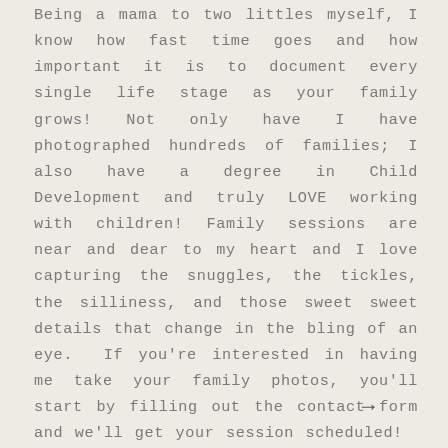Being a mama to two littles myself, I know how fast time goes and how important it is to document every single life stage as your family grows! Not only have I have photographed hundreds of families; I also have a degree in Child Development and truly LOVE working with children! Family sessions are near and dear to my heart and I love capturing the snuggles, the tickles, the silliness, and those sweet sweet details that change in the bling of an eye.  If you're interested in having me take your family photos, you'll start by filling out the contact form and we'll get your session scheduled!
→